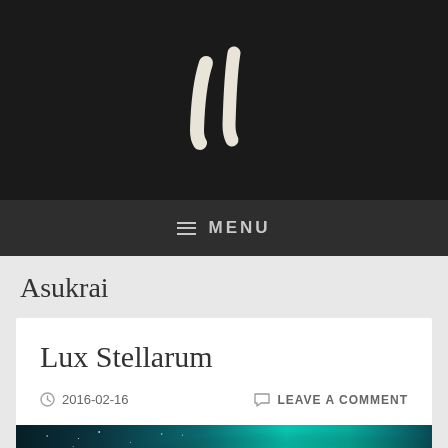[Figure (logo): Handwritten-style white italic 'H' logo on black background]
≡ MENU
Asukrai
Lux Stellarum
2016-02-16   LEAVE A COMMENT
[Figure (photo): Night sky/aurora borealis photo with teal and green northern lights over dark landscape]